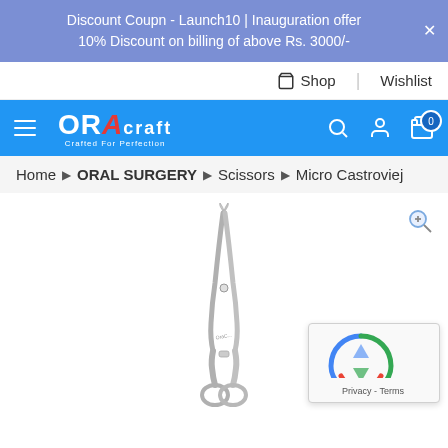Discount Coupn - Launch10 | Inauguration offer 10% Discount on billing of above Rs. 3000/-
Shop | Wishlist
[Figure (logo): ORA CRAFT logo with red stylized A, on blue navigation bar]
Home > ORAL SURGERY > Scissors > Micro Castroviej
[Figure (photo): Micro Castroviejo scissors product image on white background — fine surgical scissors with ring handles and slender blades]